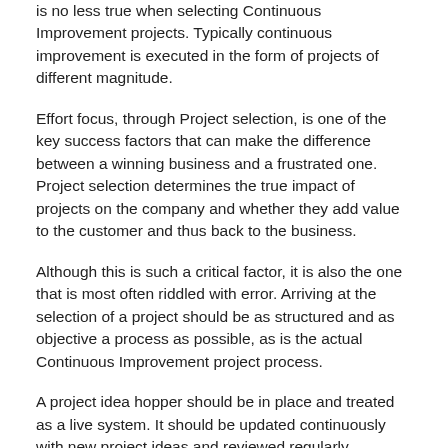is no less true when selecting Continuous Improvement projects. Typically continuous improvement is executed in the form of projects of different magnitude.
Effort focus, through Project selection, is one of the key success factors that can make the difference between a winning business and a frustrated one. Project selection determines the true impact of projects on the company and whether they add value to the customer and thus back to the business.
Although this is such a critical factor, it is also the one that is most often riddled with error. Arriving at the selection of a project should be as structured and as objective a process as possible, as is the actual Continuous Improvement project process.
A project idea hopper should be in place and treated as a live system. It should be updated continuously with new project ideas and reviewed regularly.
Evidence, data and facts should be used to select projects. It typically starts with the company's dashboard of key metrics. The company should balance its project portfolio between addressing today's burning issues and longer-term improvements.